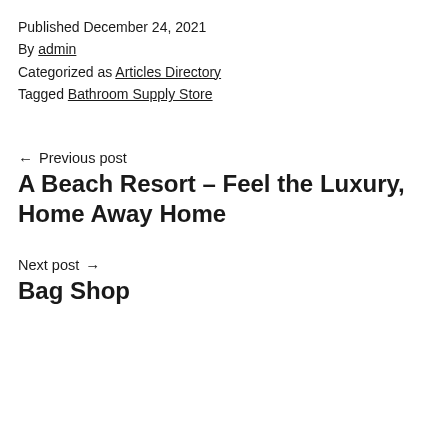Published December 24, 2021
By admin
Categorized as Articles Directory
Tagged Bathroom Supply Store
← Previous post
A Beach Resort – Feel the Luxury, Home Away Home
Next post →
Bag Shop